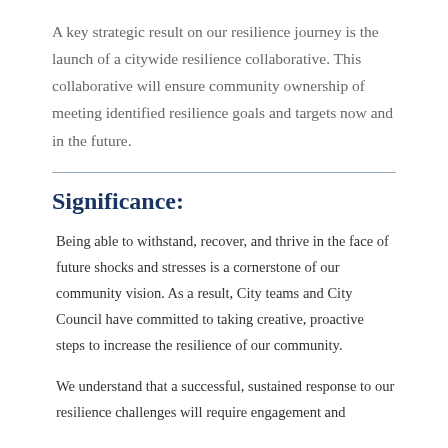A key strategic result on our resilience journey is the launch of a citywide resilience collaborative. This collaborative will ensure community ownership of meeting identified resilience goals and targets now and in the future.
Significance:
Being able to withstand, recover, and thrive in the face of future shocks and stresses is a cornerstone of our community vision. As a result, City teams and City Council have committed to taking creative, proactive steps to increase the resilience of our community.
We understand that a successful, sustained response to our resilience challenges will require engagement and